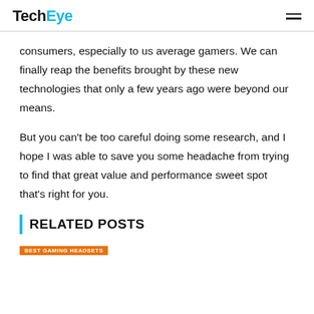TechEye
consumers, especially to us average gamers. We can finally reap the benefits brought by these new technologies that only a few years ago were beyond our means.
But you can’t be too careful doing some research, and I hope I was able to save you some headache from trying to find that great value and performance sweet spot that’s right for you.
RELATED POSTS
BEST GAMING HEADSETS